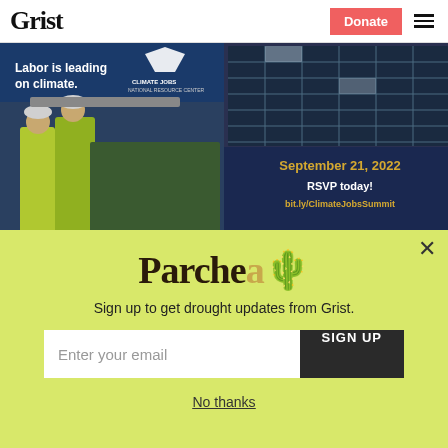Grist
[Figure (photo): Advertisement image showing workers installing solar panels with text 'Labor is leading on climate.' Climate Jobs National Resource Center logo, and 'September 21, 2022 RSVP today! bit.ly/ClimateJobsSummit']
Parchea
Sign up to get drought updates from Grist.
Enter your email  SIGN UP
No thanks